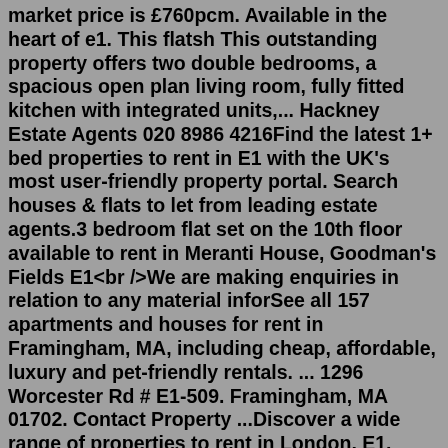market price is £760pcm. Available in the heart of e1. This flatsh This outstanding property offers two double bedrooms, a spacious open plan living room, fully fitted kitchen with integrated units,... Hackney Estate Agents 020 8986 4216Find the latest 1+ bed properties to rent in E1 with the UK's most user-friendly property portal. Search houses & flats to let from leading estate agents.3 bedroom flat set on the 10th floor available to rent in Meranti House, Goodman's Fields E1<br />We are making enquiries in relation to any material inforSee all 157 apartments and houses for rent in Framingham, MA, including cheap, affordable, luxury and pet-friendly rentals. ... 1296 Worcester Rd # E1-509. Framingham, MA 01702. Contact Property ...Discover a wide range of properties to rent in London, E1. Dexters Estate Agents specialise in properties to rent in the most exclusive parts of , E1 postcode ... this property offers two fantastic sized bedrooms with built in storage and a communal roof terrace. Johnson Street Shadwell, E1 2NT Bar #E1-215 Bar Inv/Trans JobA S...